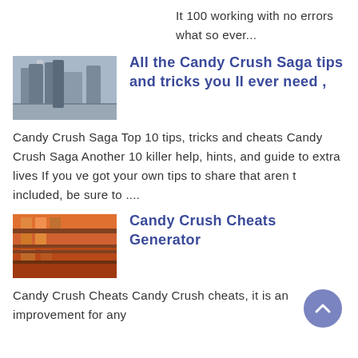It 100 working with no errors what so ever...
[Figure (photo): Thumbnail photo of industrial facility with storage tanks and scaffolding]
All the Candy Crush Saga tips and tricks you ll ever need ,
Candy Crush Saga Top 10 tips, tricks and cheats Candy Crush Saga Another 10 killer help, hints, and guide to extra lives If you ve got your own tips to share that aren t included, be sure to ....
[Figure (photo): Thumbnail photo of colorful shelves or storage with orange/red items]
Candy Crush Cheats Generator
Candy Crush Cheats Candy Crush cheats, it is an improvement for any